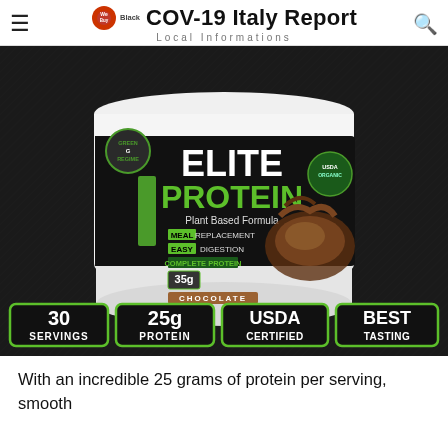COV-19 Italy Report | Local Informations
[Figure (photo): Product photo of Green Regimen Elite Protein chocolate flavor container on dark background, with text badges showing: 30 Servings, 25g Protein, USDA Certified, Best Tasting]
With an incredible 25 grams of protein per serving, smooth